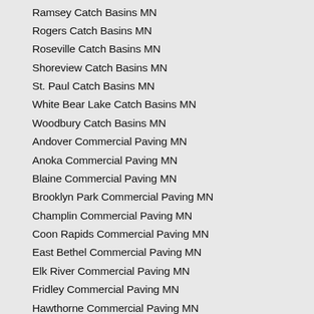Ramsey Catch Basins MN
Rogers Catch Basins MN
Roseville Catch Basins MN
Shoreview Catch Basins MN
St. Paul Catch Basins MN
White Bear Lake Catch Basins MN
Woodbury Catch Basins MN
Andover Commercial Paving MN
Anoka Commercial Paving MN
Blaine Commercial Paving MN
Brooklyn Park Commercial Paving MN
Champlin Commercial Paving MN
Coon Rapids Commercial Paving MN
East Bethel Commercial Paving MN
Elk River Commercial Paving MN
Fridley Commercial Paving MN
Hawthorne Commercial Paving MN